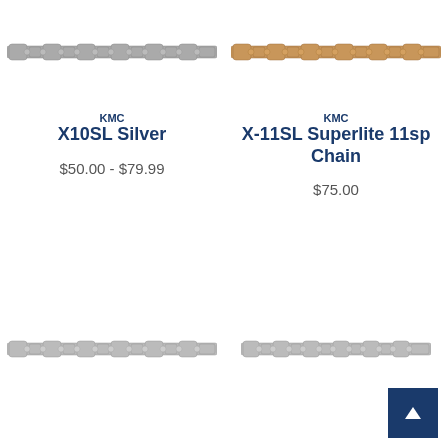[Figure (photo): KMC X10SL Silver bicycle chain, silver/grey colored, horizontal orientation]
[Figure (photo): KMC X-11SL Superlite 11sp bicycle chain, gold/copper colored, horizontal orientation]
KMC
X10SL Silver
$50.00 - $79.99
KMC
X-11SL Superlite 11sp Chain
$75.00
[Figure (photo): Bicycle chain, silver/grey colored, horizontal orientation, bottom left]
[Figure (photo): Bicycle chain, silver/grey colored, horizontal orientation, bottom right]